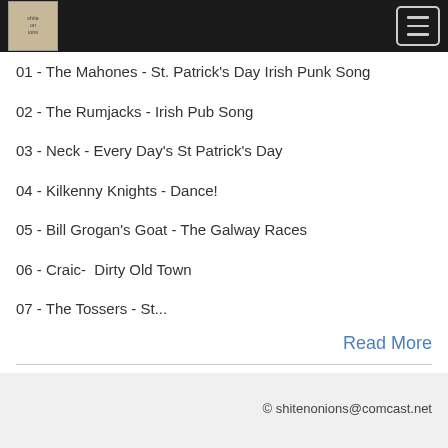shite on ions logo and navigation
01 - The Mahones - St. Patrick's Day Irish Punk Song
02 - The Rumjacks - Irish Pub Song
03 - Neck - Every Day's St Patrick's Day
04 - Kilkenny Knights - Dance!
05 - Bill Grogan's Goat - The Galway Races
06 - Craic-  Dirty Old Town
07 - The Tossers - St...
Read More
© shitenonions@comcast.net